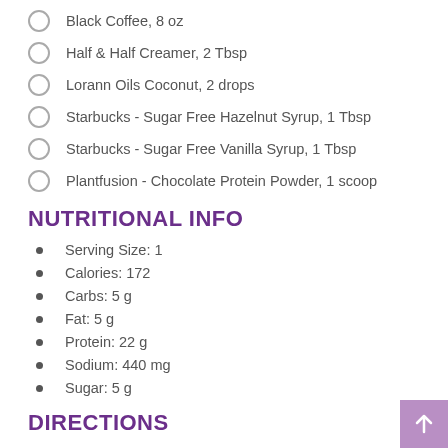Black Coffee, 8 oz
Half & Half Creamer, 2 Tbsp
Lorann Oils Coconut, 2 drops
Starbucks - Sugar Free Hazelnut Syrup, 1 Tbsp
Starbucks - Sugar Free Vanilla Syrup, 1 Tbsp
Plantfusion - Chocolate Protein Powder, 1 scoop
NUTRITIONAL INFO
Serving Size: 1
Calories: 172
Carbs: 5 g
Fat: 5 g
Protein: 22 g
Sodium: 440 mg
Sugar: 5 g
DIRECTIONS